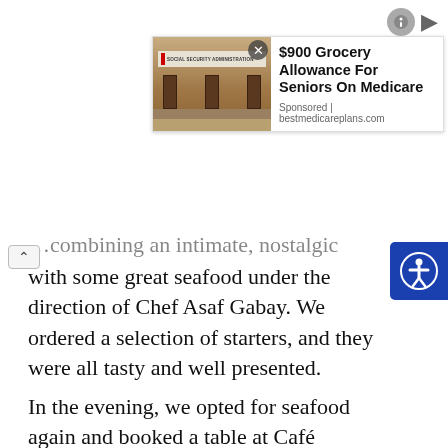[Figure (infographic): Advertisement banner showing Social Security Administration building image with text '$900 Grocery Allowance For Seniors On Medicare' and 'Sponsored | bestmedicareplans.com']
with some great seafood under the direction of Chef Asaf Gabay. We ordered a selection of starters, and they were all tasty and well presented.
In the evening, we opted for seafood again and booked a table at Café Europa, offering a “lose Tel Avivian cuisine,” as they call it. The ambiance was magical, and the excellent menu has dishes such as fish Crudo, fish tartare, citrus and sashimi salad, or asparagus on pea creme.
A culinary bonus